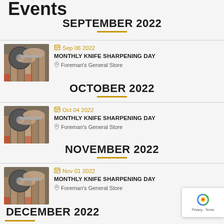Events
SEPTEMBER 2022
[Figure (photo): Hands using a grinding wheel to sharpen a knife, with wooden tool handles in background]
Sep 06 2022
MONTHLY KNIFE SHARPENING DAY
Foreman's General Store
OCTOBER 2022
[Figure (photo): Hands using a grinding wheel to sharpen a knife, with wooden tool handles in background]
Oct 04 2022
MONTHLY KNIFE SHARPENING DAY
Foreman's General Store
NOVEMBER 2022
[Figure (photo): Hands using a grinding wheel to sharpen a knife, with wooden tool handles in background]
Nov 01 2022
MONTHLY KNIFE SHARPENING DAY
Foreman's General Store
DECEMBER 2022